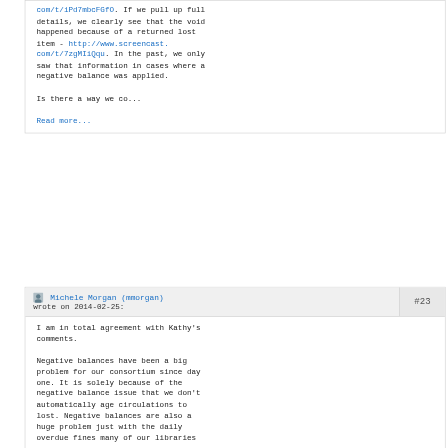com/t/iPd7mbcFGfO. If we pull up full details, we clearly see that the void happened because of a returned lost item - http://www.screencast.com/t/7zgMIiQqu. In the past, we only saw that information in cases where a negative balance was applied.

Is there a way we co...
Read more...
Michele Morgan (mmorgan) wrote on 2014-02-25: #23
I am in total agreement with Kathy's comments.

Negative balances have been a big problem for our consortium since day one. It is solely because of the negative balance issue that we don't automatically age circulations to lost. Negative balances are also a huge problem just with the daily overdue fines many of our libraries